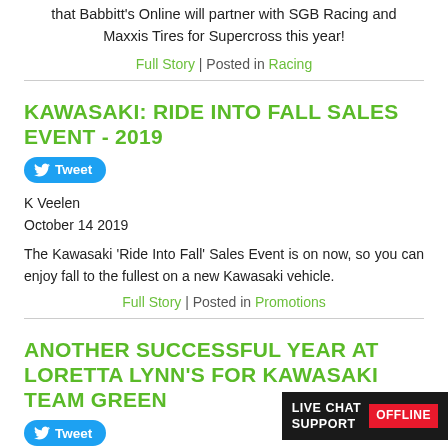that Babbitt's Online will partner with SGB Racing and Maxxis Tires for Supercross this year!
Full Story | Posted in Racing
KAWASAKI: RIDE INTO FALL SALES EVENT - 2019
Tweet
K Veelen
October 14 2019
The Kawasaki 'Ride Into Fall' Sales Event is on now, so you can enjoy fall to the fullest on a new Kawasaki vehicle.
Full Story | Posted in Promotions
ANOTHER SUCCESSFUL YEAR AT LORETTA LYNN'S FOR KAWASAKI TEAM GREEN
Tweet
LIVE CHAT SUPPORT OFFLINE